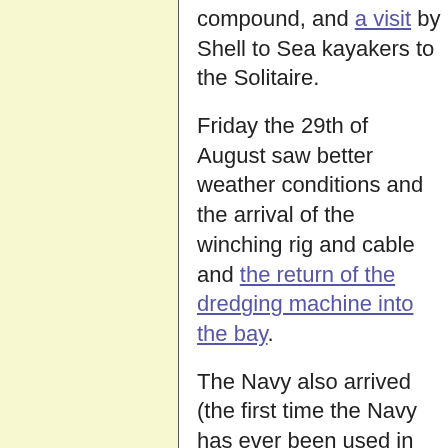compound, and a visit by Shell to Sea kayakers to the Solitaire.

Friday the 29th of August saw better weather conditions and the arrival of the winching rig and cable and the return of the dredging machine into the bay.

The Navy also arrived (the first time the Navy has ever been used in an operation against a civil